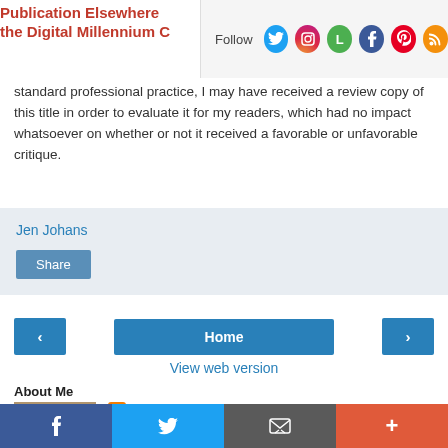Publication Elsewhere the Digital Millennium C
Follow
standard professional practice, I may have received a review copy of this title in order to evaluate it for my readers, which had no impact whatsoever on whether or not it received a favorable or unfavorable critique.
Jen Johans
Share
Home
View web version
About Me
[Figure (photo): Photo of Jen Johans, a person with dark bangs hair]
Jen Johans
Walking Movie Encyclopedia at Film Intuition; 3-Time